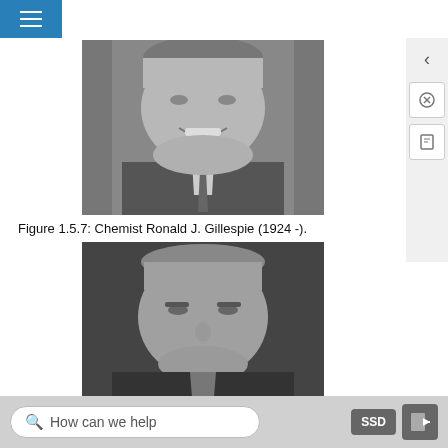[Figure (photo): Black and white portrait photo of Chemist Ronald J. Gillespie, showing face and upper body, smiling, wearing a suit and tie, with bookshelves in background.]
Figure 1.5.7: Chemist Ronald J. Gillespie (1924 -).
[Figure (photo): Black and white portrait photo of a second chemist, showing face and upper body, serious expression, wearing a dark suit.]